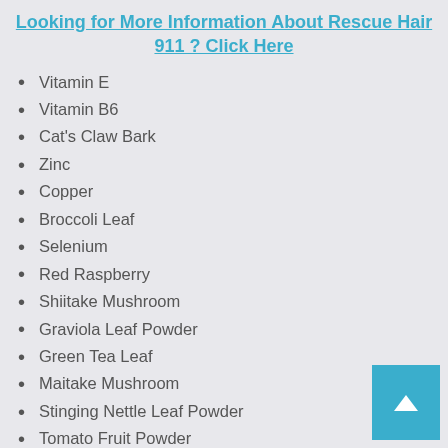Looking for More Information About Rescue Hair 911 ? Click Here
Vitamin E
Vitamin B6
Cat's Claw Bark
Zinc
Copper
Broccoli Leaf
Selenium
Red Raspberry
Shiitake Mushroom
Graviola Leaf Powder
Green Tea Leaf
Maitake Mushroom
Stinging Nettle Leaf Powder
Tomato Fruit Powder